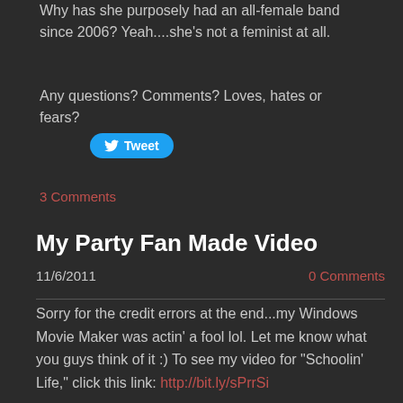Why has she purposely had an all-female band since 2006? Yeah....she's not a feminist at all.
Any questions? Comments? Loves, hates or fears?
[Figure (other): Tweet button with Twitter bird icon]
3 Comments
My Party Fan Made Video
11/6/2011
0 Comments
Sorry for the credit errors at the end...my Windows Movie Maker was actin' a fool lol. Let me know what you guys think of it :)  To see my video for "Schoolin' Life," click this link: http://bit.ly/sPrrSi